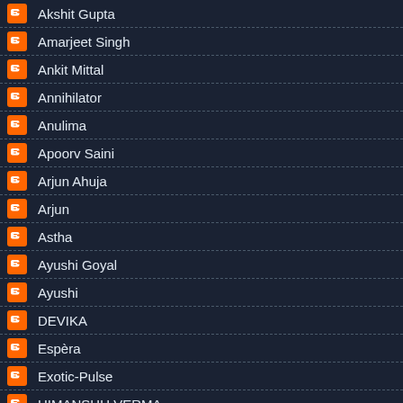Akshit Gupta
Amarjeet Singh
Ankit Mittal
Annihilator
Anulima
Apoorv Saini
Arjun Ahuja
Arjun
Astha
Ayushi Goyal
Ayushi
DEVIKA
Espèra
Exotic-Pulse
HIMANSHU VERMA
Himanshu Gargas